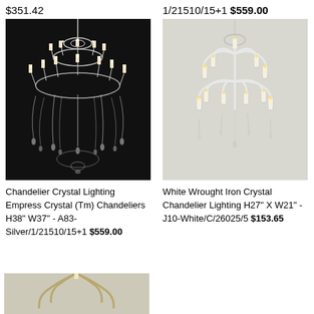$351.42
[Figure (photo): Crystal chandelier on dark background]
Chandelier Crystal Lighting Empress Crystal (Tm) Chandeliers H38" W37" - A83-Silver/1/21510/15+1 $559.00
1/21510/15+1 $559.00
[Figure (photo): White wrought iron crystal chandelier on light background]
White Wrought Iron Crystal Chandelier Lighting H27" X W21" - J10-White/C/26025/5 $153.65
[Figure (photo): Partial view of cream/gold chandelier at bottom of page]